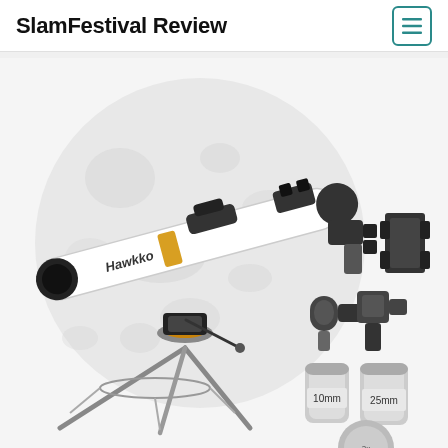SlamFestival Review
[Figure (photo): A white Hawkko brand refractor telescope on a tripod, with a large full moon in the background. Several accessories are shown to the right including eyepieces labeled 10mm and 25mm, a diagonal mirror, and a smartphone mount adapter.]